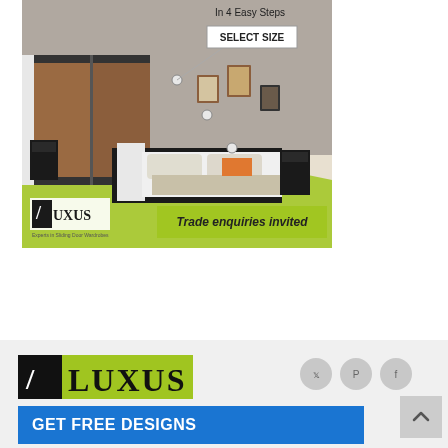[Figure (illustration): Luxus advertisement showing a modern bedroom with sliding door wardrobe. Text reads 'In 4 Easy Steps' and 'SELECT SIZE' with annotated callout. Bottom shows Luxus logo with tagline 'Experts in Sliding Door Wardrobes' and 'Trade enquiries invited' on lime green background.]
[Figure (logo): Luxus logo with black square icon and lime green text background showing 'LUXUS' in large bold letters]
GET FREE DESIGNS